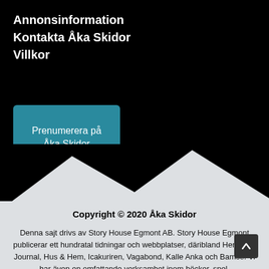Annonsinformation
Kontakta Åka Skidor
Villkor
Prenumerera på Åka Skidor
Copyright © 2020 Åka Skidor
Denna sajt drivs av Story House Egmont AB. Story House Egmont publicerar ett hundratal tidningar och webbplatser, däribland Hemmets Journal, Hus & Hem, Icakuriren, Vagabond, Kalle Anka och Bamse. Vi har även en omfattande verksamhet inom böcker, spel, aktivitetsprodukter och event, samt är snabbt